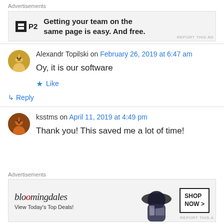Advertisements
[Figure (screenshot): P2 advertisement banner: logo with 'P2' text, headline 'Getting your team on the same page is easy. And free.']
Alexandr Topilski on February 26, 2019 at 6:47 am
Oy, it is our software
Like
Reply
ksstms on April 11, 2019 at 4:49 pm
Thank you! This saved me a lot of time!
Advertisements
[Figure (screenshot): Bloomingdale's advertisement: 'bloomingdales', 'View Today's Top Deals!' with woman in hat image and 'SHOP NOW >' button]